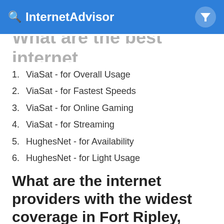InternetAdvisor
providers in Fort Ripley, MN?
1. ViaSat - for Overall Usage
2. ViaSat - for Fastest Speeds
3. ViaSat - for Online Gaming
4. ViaSat - for Streaming
5. HughesNet - for Availability
6. HughesNet - for Light Usage
What are the internet providers with the widest coverage in Fort Ripley, MN?